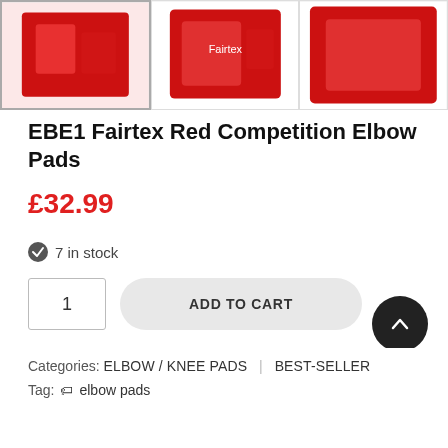[Figure (photo): Three product thumbnail images of red Fairtex competition elbow pads, shown from different angles on white background. First image is selected/highlighted.]
EBE1 Fairtex Red Competition Elbow Pads
£32.99
7 in stock
1  ADD TO CART
Categories:  ELBOW / KNEE PADS  |  BEST-SELLER
Tag:  elbow pads